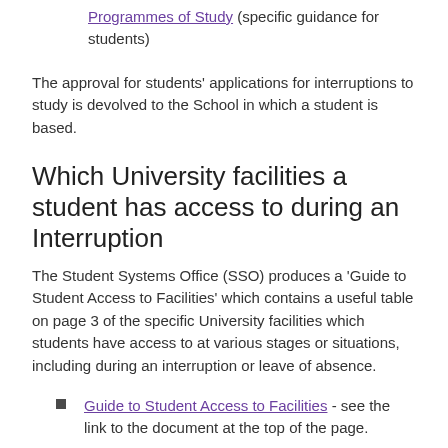Programmes of Study (specific guidance for students)
The approval for students' applications for interruptions to study is devolved to the School in which a student is based.
Which University facilities a student has access to during an Interruption
The Student Systems Office (SSO) produces a 'Guide to Student Access to Facilities' which contains a useful table on page 3 of the specific University facilities which students have access to at various stages or situations, including during an interruption or leave of absence.
Guide to Student Access to Facilities - see the link to the document at the top of the page.